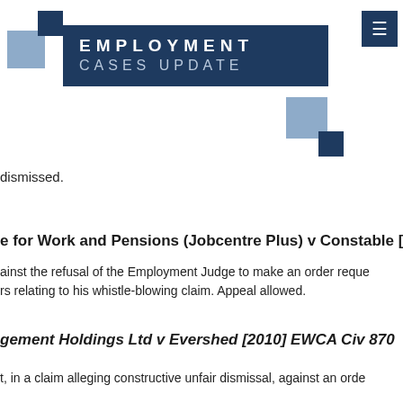[Figure (logo): Employment Cases Update logo with decorative blue squares and dark navy banner reading EMPLOYMENT CASES UPDATE]
dismissed.
Department for Work and Pensions (Jobcentre Plus) v Constable [partial]
against the refusal of the Employment Judge to make an order reque... rs relating to his whistle-blowing claim. Appeal allowed.
Management Holdings Ltd v Evershed [2010] EWCA Civ 870 [partial]
t, in a claim alleging constructive unfair dismissal, against an orde...